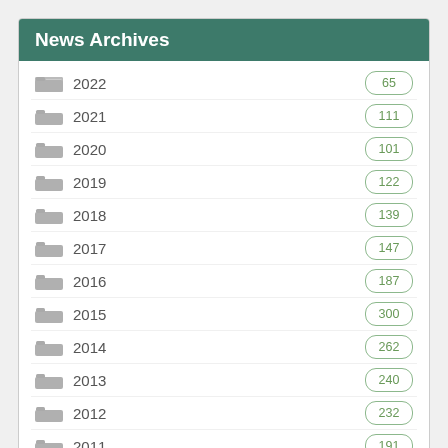News Archives
2022 — 65
2021 — 111
2020 — 101
2019 — 122
2018 — 139
2017 — 147
2016 — 187
2015 — 300
2014 — 262
2013 — 240
2012 — 232
2011 — 191
2010 — 94
2009 — 1